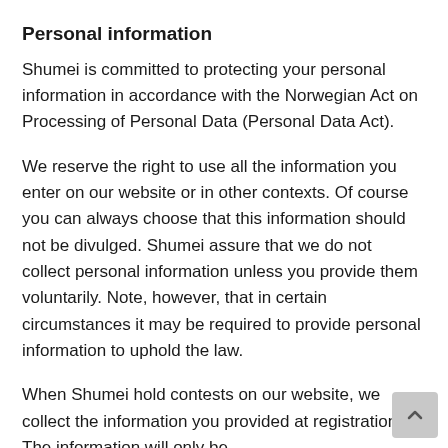Personal information
Shumei is committed to protecting your personal information in accordance with the Norwegian Act on Processing of Personal Data (Personal Data Act).
We reserve the right to use all the information you enter on our website or in other contexts. Of course you can always choose that this information should not be divulged. Shumei assure that we do not collect personal information unless you provide them voluntarily. Note, however, that in certain circumstances it may be required to provide personal information to uphold the law.
When Shumei hold contests on our website, we collect the information you provided at registration. The information will only be